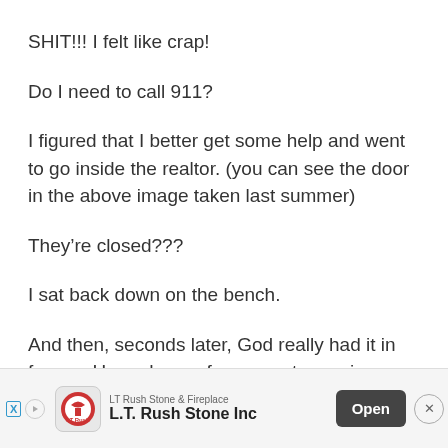SHIT!!! I felt like crap!
Do I need to call 911?
I figured that I better get some help and went to go inside the realtor. (you can see the door in the above image taken last summer)
They’re closed???
I sat back down on the bench.
And then, seconds later, God really had it in for me. Huge drops of summer-type rain started falling.
Did I need that?
So, I re... overha...
[Figure (screenshot): Advertisement banner for LT Rush Stone & Fireplace showing logo, company name 'L.T. Rush Stone Inc', an 'Open' button, and a close (X) button]